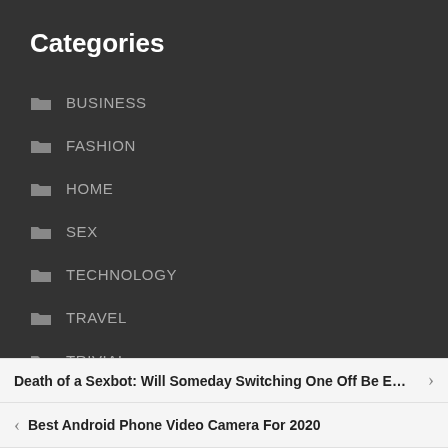Categories
BUSINESS
FASHION
HOME
SEX
TECHNOLOGY
TRAVEL
TRIVIAL
WORLD
Death of a Sexbot: Will Someday Switching One Off Be E…
Best Android Phone Video Camera For 2020